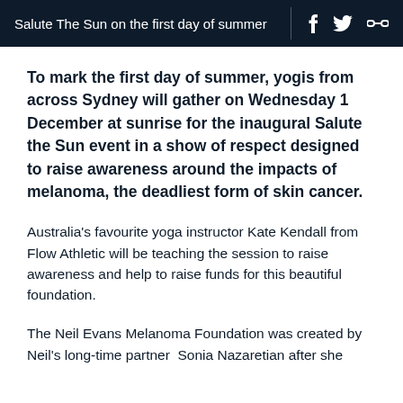Salute The Sun on the first day of summer
To mark the first day of summer, yogis from across Sydney will gather on Wednesday 1 December at sunrise for the inaugural Salute the Sun event in a show of respect designed to raise awareness around the impacts of melanoma, the deadliest form of skin cancer.
Australia's favourite yoga instructor Kate Kendall from Flow Athletic will be teaching the session to raise awareness and help to raise funds for this beautiful foundation.
The Neil Evans Melanoma Foundation was created by Neil's long-time partner  Sonia Nazaretian after she